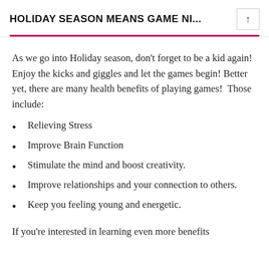HOLIDAY SEASON MEANS GAME NI...
As we go into Holiday season, don't forget to be a kid again!  Enjoy the kicks and giggles and let the games begin! Better yet, there are many health benefits of playing games!  Those include:
Relieving Stress
Improve Brain Function
Stimulate the mind and boost creativity.
Improve relationships and your connection to others.
Keep you feeling young and energetic.
If you're interested in learning even more benefits